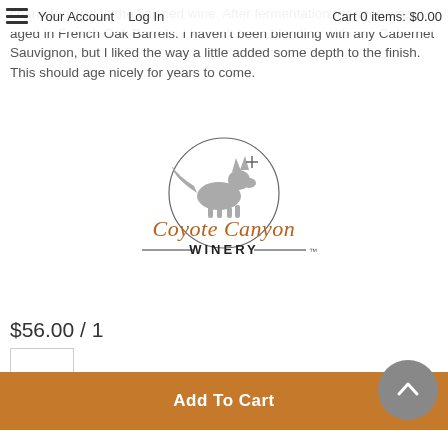Your Account | Log In | Cart 0 items: $0.00
characteristics to the finished wine. After fermentation the wine was aged in French Oak Barrels. I haven't been blending with any Cabernet Sauvignon, but I liked the way a little added some depth to the finish. This should age nicely for years to come.
[Figure (logo): Coyote Canyon Winery logo with coyote illustration and script/serif text]
$56.00 / 1
1
Add To Cart